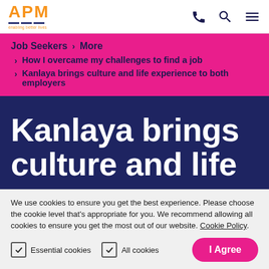APM — enabling better lives
Job Seekers > More
> How I overcame my challenges to find a job
> Kanlaya brings culture and life experience to both employers
Kanlaya brings culture and life
We use cookies to ensure you get the best experience. Please choose the cookie level that's appropriate for you. We recommend allowing all cookies to ensure you get the most out of our website. Cookie Policy.
Essential cookies | All cookies | I Agree